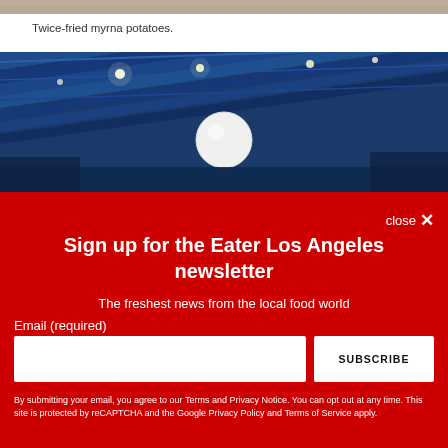[Figure (photo): Partial top strip of a food photo, appearing to show fried potatoes]
Twice-fried myrna potatoes.
[Figure (photo): Interior of a restaurant with blue industrial ceiling beams, pendant lights, and a large round white globe light]
close ✕
Sign up for the Eater Los Angeles newsletter
The freshest news from the local food world
Email (required)
SUBSCRIBE
By submitting your email, you agree to our Terms and Privacy Notice. You can opt out at any time. This site is protected by reCAPTCHA and the Google Privacy Policy and Terms of Service apply.